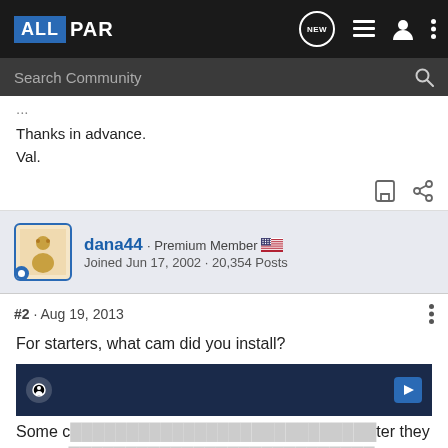ALLPAR - Search Community
Thanks in advance.
Val.
dana44 · Premium Member
Joined Jun 17, 2002 · 20,354 Posts
#2 · Aug 19, 2013
For starters, what cam did you install?
Some c... ter they are inst... ither